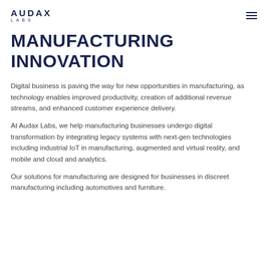AUDAX LABS
MANUFACTURING INNOVATION
Digital business is paving the way for new opportunities in manufacturing, as technology enables improved productivity, creation of additional revenue streams, and enhanced customer experience delivery.
At Audax Labs, we help manufacturing businesses undergo digital transformation by integrating legacy systems with next-gen technologies including industrial IoT in manufacturing, augmented and virtual reality, and mobile and cloud and analytics.
Our solutions for manufacturing are designed for businesses in discreet manufacturing including automotives and furniture.